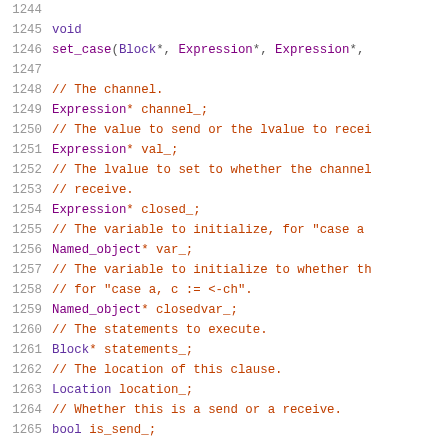Source code listing lines 1244-1265, showing C++ class member declarations with comments
1244 (empty line)
1245     void
1246     set_case(Block*, Expression*, Expression*,
1247 (empty line)
1248     // The channel.
1249     Expression* channel_;
1250     // The value to send or the lvalue to recei
1251     Expression* val_;
1252     // The lvalue to set to whether the channel
1253     // receive.
1254     Expression* closed_;
1255     // The variable to initialize, for "case a
1256     Named_object* var_;
1257     // The variable to initialize to whether th
1258     // for "case a, c := <-ch".
1259     Named_object* closedvar_;
1260     // The statements to execute.
1261     Block* statements_;
1262     // The location of this clause.
1263     Location location_;
1264     // Whether this is a send or a receive.
1265     bool is_send_;